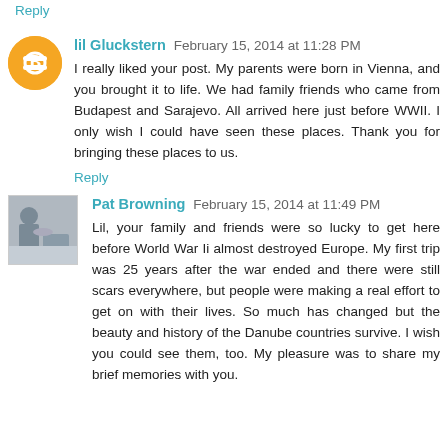Reply
lil Gluckstern  February 15, 2014 at 11:28 PM
I really liked your post. My parents were born in Vienna, and you brought it to life. We had family friends who came from Budapest and Sarajevo. All arrived here just before WWII. I only wish I could have seen these places. Thank you for bringing these places to us.
Reply
Pat Browning  February 15, 2014 at 11:49 PM
Lil, your family and friends were so lucky to get here before World War Ii almost destroyed Europe. My first trip was 25 years after the war ended and there were still scars everywhere, but people were making a real effort to get on with their lives. So much has changed but the beauty and history of the Danube countries survive. I wish you could see them, too. My pleasure was to share my brief memories with you.